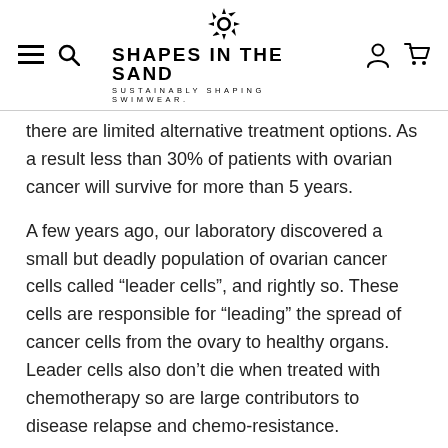SHAPES IN THE SAND — SUSTAINABLY SHAPING SWIMWEAR.
there are limited alternative treatment options. As a result less than 30% of patients with ovarian cancer will survive for more than 5 years.
A few years ago, our laboratory discovered a small but deadly population of ovarian cancer cells called “leader cells”, and rightly so. These cells are responsible for “leading” the spread of cancer cells from the ovary to healthy organs. Leader cells also don’t die when treated with chemotherapy so are large contributors to disease relapse and chemo-resistance.